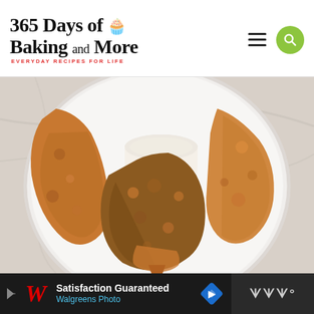365 Days of Baking and More — EVERYDAY RECIPES FOR LIFE
[Figure (photo): Top-down view of breaded fried chicken tenders arranged on a white plate with a small white cup of creamy dipping sauce in the center, on a white marble surface.]
Satisfaction Guaranteed Walgreens Photo